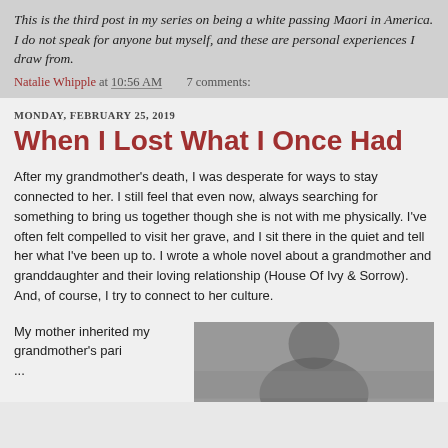This is the third post in my series on being a white passing Maori in America. I do not speak for anyone but myself, and these are personal experiences I draw from.
Natalie Whipple at 10:56 AM   7 comments:
MONDAY, FEBRUARY 25, 2019
When I Lost What I Once Had
After my grandmother's death, I was desperate for ways to stay connected to her. I still feel that even now, always searching for something to bring us together though she is not with me physically. I've often felt compelled to visit her grave, and I sit there in the quiet and tell her what I've been up to. I wrote a whole novel about a grandmother and granddaughter and their loving relationship (House Of Ivy & Sorrow). And, of course, I try to connect to her culture.
My mother inherited my grandmother's pari...
[Figure (photo): Black and white photograph of a person, partially visible at bottom right of page]